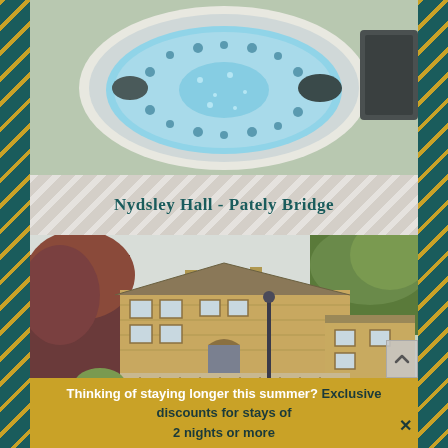[Figure (photo): Aerial/overhead view of a round hot tub with blue water and jets, viewed from above]
Nydsley Hall - Pately Bridge
[Figure (photo): Exterior photo of Nydsley Hall, a large stone-built Victorian property with gardens and trees in autumn colours]
Thinking of staying longer this summer? Exclusive discounts for stays of 2 nights or more